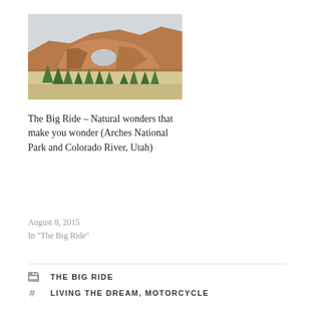[Figure (photo): Photograph of a red rock arch formation in Arches National Park, Utah, with conifer trees below and an overcast sky]
The Big Ride – Natural wonders that make you wonder (Arches National Park and Colorado River, Utah)
August 8, 2015
In "The Big Ride"
THE BIG RIDE
LIVING THE DREAM, MOTORCYCLE